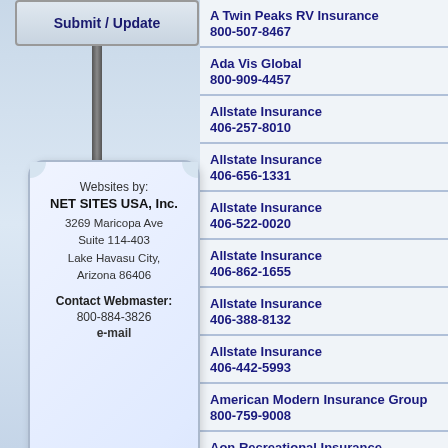[Figure (illustration): Sign post with Submit/Update sign at top and info card below, on a blue gradient background]
Websites by:
NET SITES USA, Inc.
3269 Maricopa Ave
Suite 114-403
Lake Havasu City, Arizona 86406
Contact Webmaster:
800-884-3826
e-mail
A Twin Peaks RV Insurance
800-507-8467
Ada Vis Global
800-909-4457
Allstate Insurance
406-257-8010
Allstate Insurance
406-656-1331
Allstate Insurance
406-522-0020
Allstate Insurance
406-862-1655
Allstate Insurance
406-388-8132
Allstate Insurance
406-442-5993
American Modern Insurance Group
800-759-9008
Aon Recreational Insurance
800-521-2942
Borden RV Insurance
800-442-0000